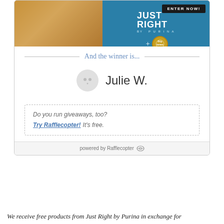[Figure (screenshot): Rafflecopter giveaway widget showing an advertisement image for 'Just Right by Purina', a winner announcement section with 'And the winner is...' heading, the winner name 'Julie W.' with avatar, a promotional box asking 'Do you run giveaways, too? Try Rafflecopter! It's free.', and a 'powered by Rafflecopter' footer.]
We receive free products from Just Right by Purina in exchange for